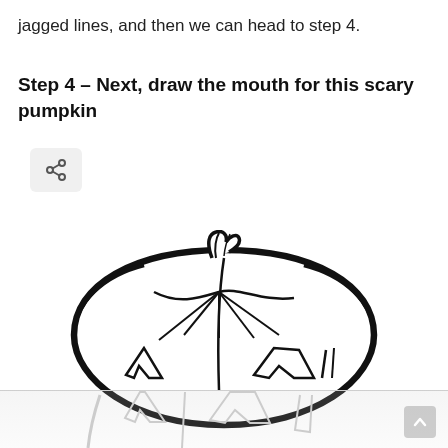jagged lines, and then we can head to step 4.
Step 4 – Next, draw the mouth for this scary pumpkin
[Figure (illustration): Line drawing of a jack-o-lantern pumpkin showing the top half with stem, ribbed body, and the beginning of carved facial features (jagged mouth/eyes outlines). Below a faint dividing line, a light gray reflection of the bottom of the pumpkin is visible.]